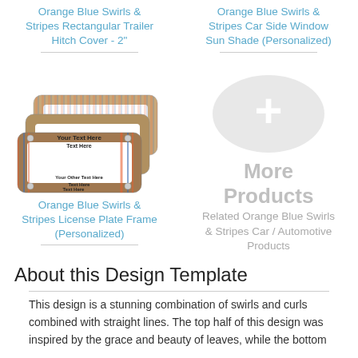Orange Blue Swirls & Stripes Rectangular Trailer Hitch Cover - 2"
Orange Blue Swirls & Stripes Car Side Window Sun Shade (Personalized)
[Figure (photo): Orange Blue Swirls & Stripes License Plate Frames (Personalized) - product image showing stacked license plate frames with 'Your Text Here' placeholder text]
[Figure (illustration): More Products placeholder - light gray circle with white plus sign, indicating related products]
Orange Blue Swirls & Stripes License Plate Frame (Personalized)
Related Orange Blue Swirls & Stripes Car / Automotive Products
About this Design Template
This design is a stunning combination of swirls and curls combined with straight lines. The top half of this design was inspired by the grace and beauty of leaves, while the bottom